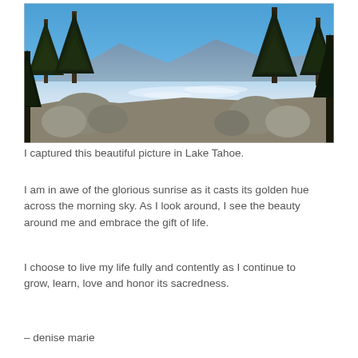[Figure (photo): Outdoor photograph taken at Lake Tahoe showing pine trees in the foreground, large boulders along a shoreline, sparkling blue water, mountains in the background, and a clear blue sky above.]
I captured this beautiful picture in Lake Tahoe.
I am in awe of the glorious sunrise as it casts its golden hue across the morning sky. As I look around, I see the beauty around me and embrace the gift of life.
I choose to live my life fully and contently as I continue to grow, learn, love and honor its sacredness.
– denise marie